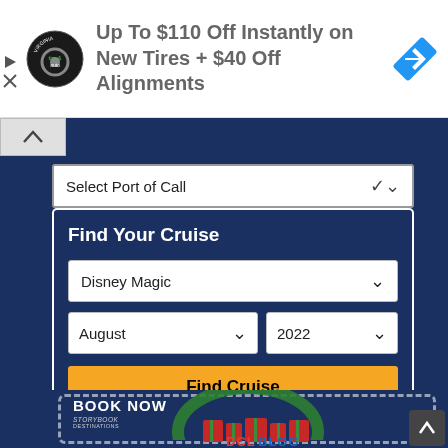[Figure (screenshot): Advertisement banner: tire and auto logo on left, text 'Up To $110 Off Instantly on New Tires + $40 Off Alignments', blue navigation arrow icon on right]
Select Port of Call
Find Your Cruise
Disney Magic
August   2022
Find Cruise
[Figure (screenshot): DCL Blog Group Cruise promotional banner with chain border, BOOK NOW text, Storybook Destinations logo, and DCL Blog Group Cruise logo with Christmas wreath design]